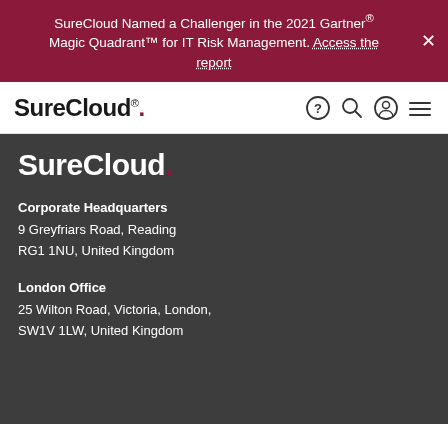SureCloud Named a Challenger in the 2021 Gartner® Magic Quadrant™ for IT Risk Management. Access the report
SureCloud. [navigation icons: help, search, account, menu]
[Figure (logo): SureCloud. logo in white text on dark grey background]
Corporate Headquarters
9 Greyfriars Road, Reading
RG1 1NU, United Kingdom
London Office
25 Wilton Road, Victoria, London,
SW1V 1LW, United Kingdom